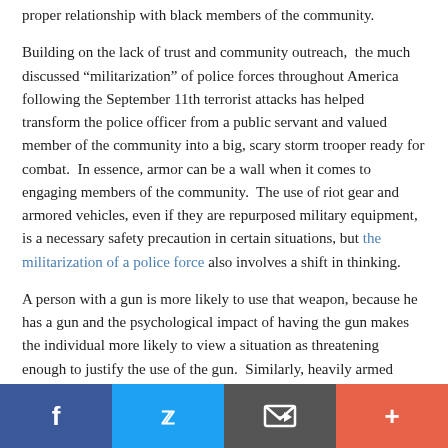proper relationship with black members of the community.
Building on the lack of trust and community outreach, the much discussed “militarization” of police forces throughout America following the September 11th terrorist attacks has helped transform the police officer from a public servant and valued member of the community into a big, scary storm trooper ready for combat. In essence, armor can be a wall when it comes to engaging members of the community. The use of riot gear and armored vehicles, even if they are repurposed military equipment, is a necessary safety precaution in certain situations, but the militarization of a police force also involves a shift in thinking.
A person with a gun is more likely to use that weapon, because he has a gun and the psychological impact of having the gun makes the individual more likely to view a situation as threatening enough to justify the use of the gun. Similarly, heavily armed police can only be expected to view potential threats as far more serious than what they are. Where innate racial perceptions drive the mistreatment of blacks by the police, the militarization of the police creates a situation where innocent blacks are more likely to be viewed as lethal threats and
Facebook | Twitter | Email | More